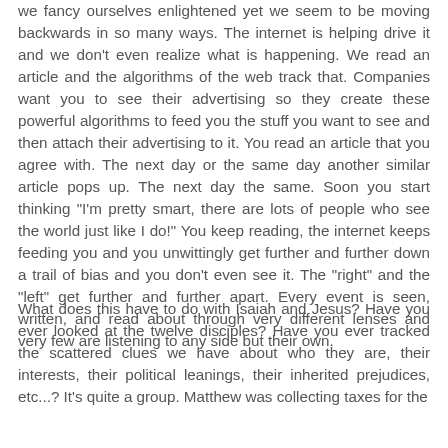we fancy ourselves enlightened yet we seem to be moving backwards in so many ways. The internet is helping drive it and we don't even realize what is happening. We read an article and the algorithms of the web track that. Companies want you to see their advertising so they create these powerful algorithms to feed you the stuff you want to see and then attach their advertising to it. You read an article that you agree with. The next day or the same day another similar article pops up. The next day the same. Soon you start thinking "I'm pretty smart, there are lots of people who see the world just like I do!" You keep reading, the internet keeps feeding you and you unwittingly get further and further down a trail of bias and you don't even see it. The "right" and the "left" get further and further apart. Every event is seen, written, and read about through very different lenses and very few are listening to any side but their own.
What does this have to do with Isaiah and Jesus? Have you ever looked at the twelve disciples? Have you ever tracked the scattered clues we have about who they are, their interests, their political leanings, their inherited prejudices, etc...? It's quite a group. Matthew was collecting taxes for the